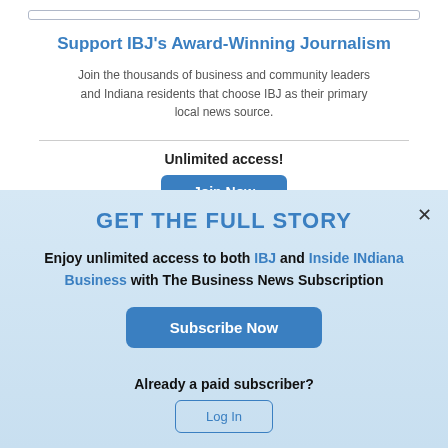[Figure (other): Rounded rectangle input box outline]
Support IBJ's Award-Winning Journalism
Join the thousands of business and community leaders and Indiana residents that choose IBJ as their primary local news source.
Unlimited access!
[Figure (other): Blue 'Join Now' button (partially visible)]
GET THE FULL STORY
Enjoy unlimited access to both IBJ and Inside INdiana Business with The Business News Subscription
[Figure (other): Blue 'Subscribe Now' button]
Already a paid subscriber?
[Figure (other): Outlined 'Log In' button]